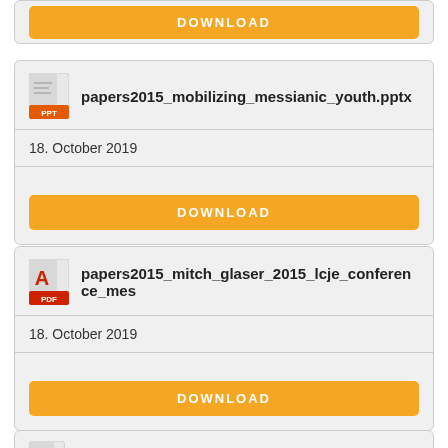[Figure (other): Download button at top of page (orange button, truncated card)]
papers2015_mobilizing_messianic_youth.pptx
18. October 2019
DOWNLOAD
papers2015_mitch_glaser_2015_lcje_conference_mes
18. October 2019
DOWNLOAD
papers2015_ministry_with_hs.ppt